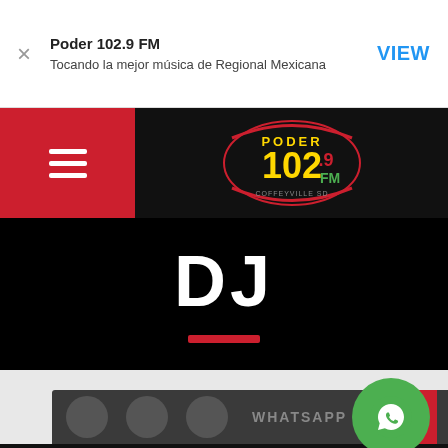Poder 102.9 FM
Tocando la mejor música de Regional Mexicana
VIEW
[Figure (logo): Poder 102.9 FM radio station logo with yellow and red text on black background, COFFEYVILLE SD tagline]
DJ
[Figure (screenshot): Bottom navigation bar with social media icons (circles), WHATSAPP label, red button, and green WhatsApp FAB button]